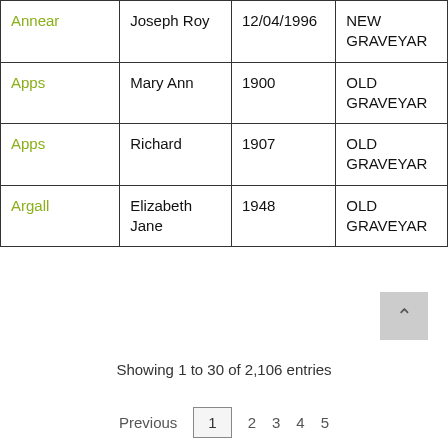| Surname | First Name | Date | Location |
| --- | --- | --- | --- |
| Annear | Joseph Roy | 12/04/1996 | NEW GRAVEYARD |
| Apps | Mary Ann | 1900 | OLD GRAVEYARD |
| Apps | Richard | 1907 | OLD GRAVEYARD |
| Argall | Elizabeth Jane | 1948 | OLD GRAVEYARD |
Showing 1 to 30 of 2,106 entries
Previous 1 2 3 4 5